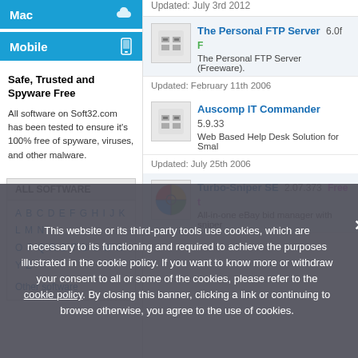Mac
Mobile
Safe, Trusted and Spyware Free
All software on Soft32.com has been tested to ensure it's 100% free of spyware, viruses, and other malware.
ALL SOFTWARE
A B C D E F G H I J K L M N O P Q R S T U V W X Y Z Other software
Updated: July 3rd 2012
The Personal FTP Server  6.0f  Free
The Personal FTP Server (Freeware).
Updated: February 11th 2006
Auscomp IT Commander  5.9.33
Web Based Help Desk Solution for Smal
Updated: July 25th 2006
Turbo-Sniper SE  2.07.373  Free t
All-in-one eBay bid manager with sniper
This website or its third-party tools use cookies, which are necessary to its functioning and required to achieve the purposes illustrated in the cookie policy. If you want to know more or withdraw your consent to all or some of the cookies, please refer to the cookie policy. By closing this banner, clicking a link or continuing to browse otherwise, you agree to the use of cookies.